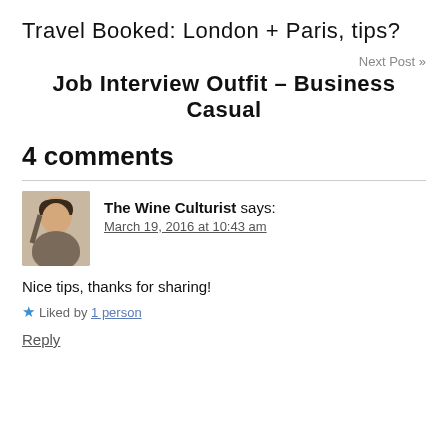Travel Booked: London + Paris, tips?
Next Post »
Job Interview Outfit – Business Casual
4 comments
The Wine Culturist says:
March 19, 2016 at 10:43 am
Nice tips, thanks for sharing!
Liked by 1 person
Reply